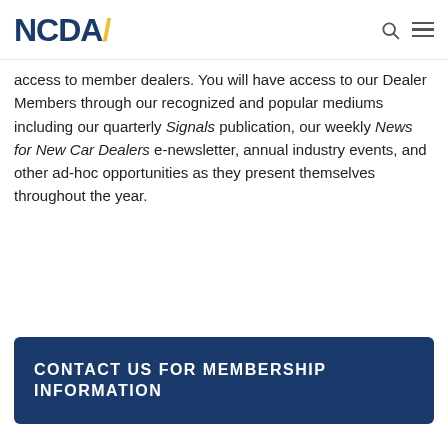NCDA
access to member dealers. You will have access to our Dealer Members through our recognized and popular mediums including our quarterly Signals publication, our weekly News for New Car Dealers e-newsletter, annual industry events, and other ad-hoc opportunities as they present themselves throughout the year.
CONTACT US FOR MEMBERSHIP INFORMATION